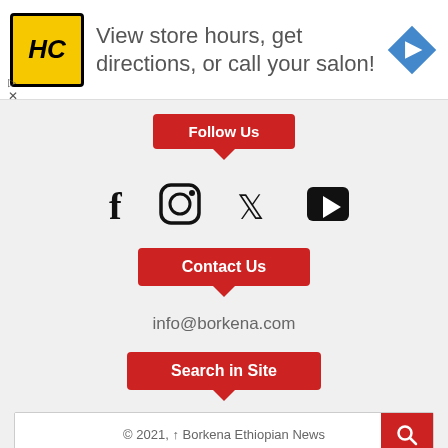[Figure (infographic): Advertisement banner: HC logo (yellow circle with HC text), text 'View store hours, get directions, or call your salon!', and a blue diamond navigation arrow icon]
[Figure (infographic): Social media Follow Us section with red button labeled 'Follow Us' and four social icons: Facebook (f), Instagram (circle), Twitter (bird), YouTube (play button)]
[Figure (infographic): Red button labeled 'Contact Us' with downward pointing arrow]
info@borkena.com
[Figure (infographic): Red button labeled 'Search in Site' with downward pointing arrow and search input bar with red search button]
© 2021, ↑ Borkena Ethiopian News